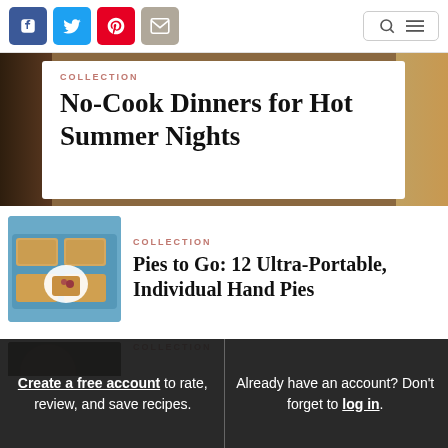[Figure (screenshot): Social sharing icons: Facebook (blue), Twitter (light blue), Pinterest (red), Email (gray), and a search/menu bar on the right]
No-Cook Dinners for Hot Summer Nights
COLLECTION
[Figure (photo): Food photo showing hand pies on a blue tray with a small white plate]
COLLECTION
Pies to Go: 12 Ultra-Portable, Individual Hand Pies
COLLECTION
Create a free account to rate, review, and save recipes.
Already have an account? Don't forget to log in.